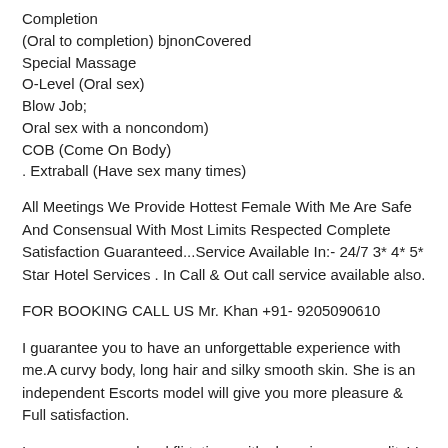Completion
(Oral to completion) bjnonCovered
Special Massage
O-Level (Oral sex)
Blow Job;
Oral sex with a noncondom)
COB (Come On Body)
. Extraball (Have sex many times)
All Meetings We Provide Hottest Female With Me Are Safe And Consensual With Most Limits Respected Complete Satisfaction Guaranteed...Service Available In:- 24/7 3* 4* 5* Star Hotel Services . In Call & Out call service available also.
FOR BOOKING CALL US Mr. Khan +91- 9205090610
I guarantee you to have an unforgettable experience with me.A curvy body, long hair and silky smooth skin. She is an independent Escorts model will give you more pleasure & Full satisfaction.
I am very sensual and flirtatious with charming personality! I love to laugh and my bright smile is ever present. ,HOTEL & HOME SERVICE PLZZ...